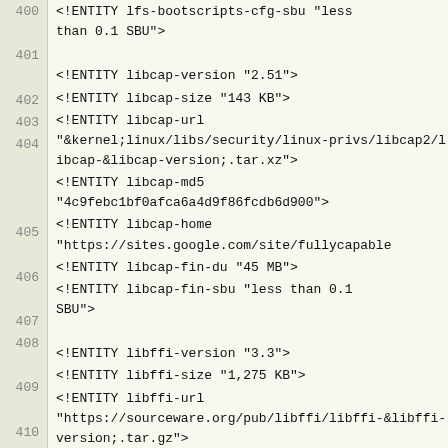400: <!ENTITY lfs-bootscripts-cfg-sbu "less than 0.1 SBU">
401: (empty)
402: <!ENTITY libcap-version "2.51">
403: <!ENTITY libcap-size "143 KB">
404: <!ENTITY libcap-url "&kernel;linux/libs/security/linux-privs/libcap2/libcap-&libcap-version;.tar.xz">
405: <!ENTITY libcap-md5 "4c9febc1bf0afca6a4d9f86fcdb6d900">
406: <!ENTITY libcap-home "https://sites.google.com/site/fullycapable">
407: <!ENTITY libcap-fin-du "45 MB">
408: <!ENTITY libcap-fin-sbu "less than 0.1 SBU">
409: (empty)
410: <!ENTITY libffi-version "3.3">
411: <!ENTITY libffi-size "1,275 KB">
412: <!ENTITY libffi-url "https://sourceware.org/pub/libffi/libffi-&libffi-version;.tar.gz">
413: <!ENTITY libffi-md5 "6313289e32f1d38a9df4770b014a2ca7">
414: <!ENTITY libffi-home